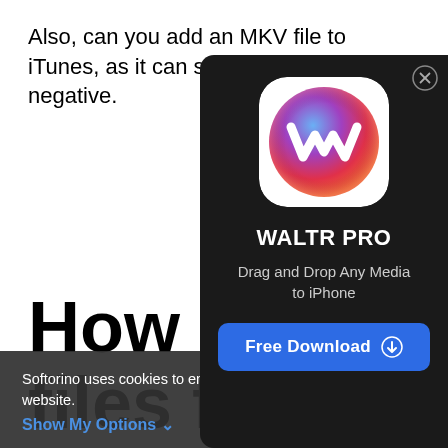Also, can you add an MKV file to iTunes, as it can serve as a media p... negative.
How to C... files from... iPhone
To get the MKV mo... format that is suppo... that file using so...
[Figure (screenshot): WALTR PRO app promotion modal on dark background. Shows app icon (colorful circle with white W), app name WALTR PRO, tagline 'Drag and Drop Any Media to iPhone', and a blue Free Download button with download icon.]
Softorino uses cookies to enhance your experience on our website.
Show My Options ∨